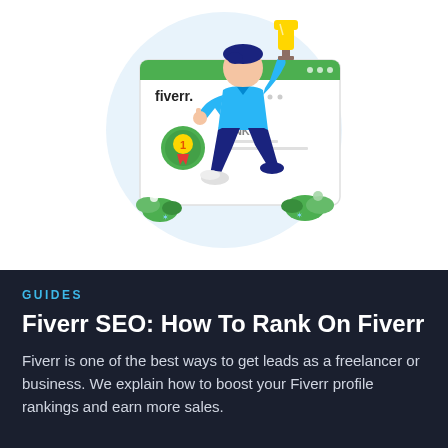[Figure (illustration): Illustration of a person in a blue shirt jumping and holding a trophy, with a Fiverr browser window in the background showing a rank #1 badge with green leaves and flowers around the base. Light blue circular background.]
GUIDES
Fiverr SEO: How To Rank On Fiverr
Fiverr is one of the best ways to get leads as a freelancer or business. We explain how to boost your Fiverr profile rankings and earn more sales.